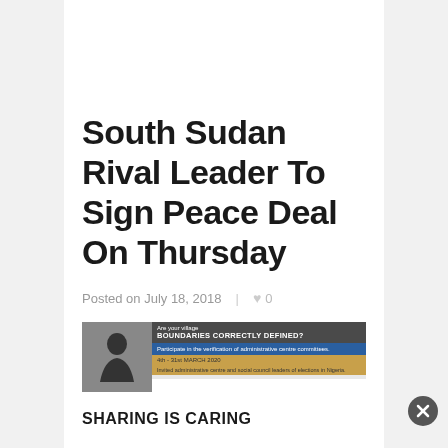South Sudan Rival Leader To Sign Peace Deal On Thursday
Posted on July 18, 2018  ♥ 0
[Figure (other): Advertisement banner with silhouette image and text: Are your village BOUNDARIES CORRECTLY DEFINED? Participate in the verification of administrative centre committees. 4th - 31st March 2020. Invited administrative centre and social council leaders of elections in Nigeria.]
SHARING IS CARING